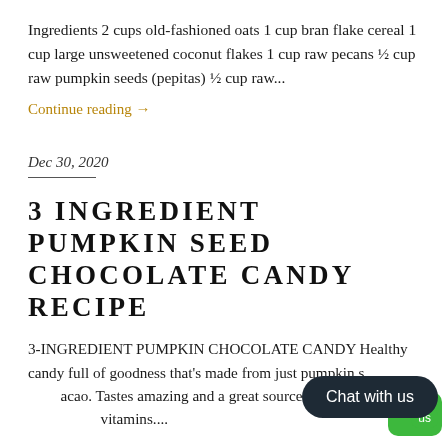Ingredients 2 cups old-fashioned oats 1 cup bran flake cereal 1 cup large unsweetened coconut flakes 1 cup raw pecans ½ cup raw pumpkin seeds (pepitas) ½ cup raw...
Continue reading →
Dec 30, 2020
3 INGREDIENT PUMPKIN SEED CHOCOLATE CANDY RECIPE
3-INGREDIENT PUMPKIN CHOCOLATE CANDY Healthy candy full of goodness that's made from just pumpkin seeds, fat, and cacao. Tastes amazing and a great source of plant vitamins....